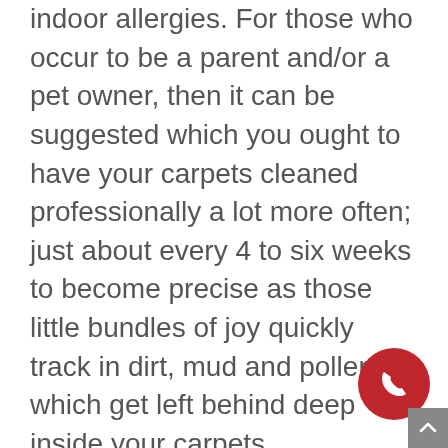indoor allergies. For those who occur to be a parent and/or a pet owner, then it can be suggested which you ought to have your carpets cleaned professionally a lot more often; just about every 4 to six weeks to become precise as those little bundles of joy quickly track in dirt, mud and pollen, which get left behind deep inside your carpets. Irrespective of the causes you're wondering if or why you must have your carpets professionally cleaned or how frequently you choose to work with them; our specialists all agree on 1 thing... That Pacific carpet and Tile cleaners are hands-down a necessity and that nobody really should definitely try to steam carpets themselves; because the outcomes of carrying out so can quite be sickening and typically poor for your health. Only obtaining your carpets professionally and appropriately cleaned can efficiently lift dust, dirt, moisture, mold and also other contaminants from deep within your carpet; which when left there can over time put on down and abrade
[Figure (other): Red circular phone/call button with white telephone handset icon, positioned in bottom-right area of the page.]